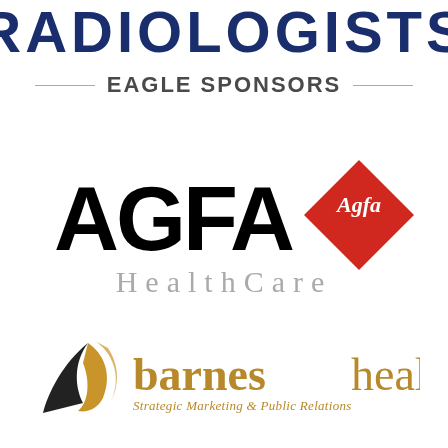RADIOLOGISTS
EAGLE SPONSORS
[Figure (logo): AGFA HealthCare logo — large black bold AGFA text with red diamond shape containing white italic Agfa text, and grey spaced-letter HealthCare below]
[Figure (logo): Barnes Health logo — gold/bronze swoosh arrow mark on left, barneshealth text in gold with bold 'barnes' and lighter 'health', tagline 'Strategic Marketing & Public Relations' in italic below]